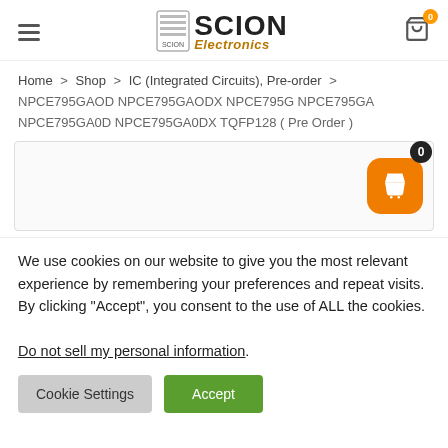Scion Electronics
Home > Shop > IC (Integrated Circuits), Pre-order > NPCE795GAOD NPCE795GAODX NPCE795G NPCE795GA NPCE795GA0D NPCE795GA0DX TQFP128 ( Pre Order )
[Figure (screenshot): Product image area with floating shopping cart button showing badge count 0]
We use cookies on our website to give you the most relevant experience by remembering your preferences and repeat visits. By clicking “Accept”, you consent to the use of ALL the cookies.
Do not sell my personal information.
Cookie Settings | Accept